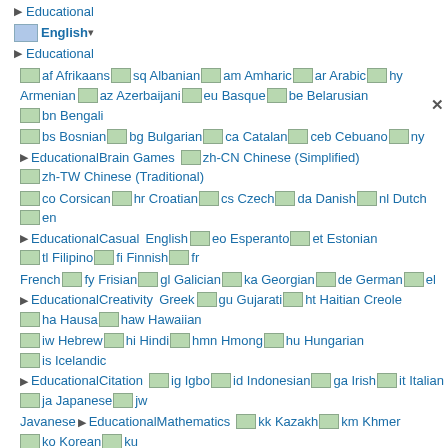Educational
English
Educational
af Afrikaans sq Albanian am Amharic ar Arabic hy Armenian az Azerbaijani eu Basque be Belarusian bn Bengali
bs Bosnian bg Bulgarian ca Catalan ceb Cebuano ny Chichewa zh-CN Chinese (Simplified) zh-TW Chinese (Traditional)
co Corsican hr Croatian cs Czech da Danish nl Dutch en English eo Esperanto et Estonian tl Filipino fi Finnish fr French fy Frisian gl Galician ka Georgian de German el Greek gu Gujarati ht Haitian Creole ha Hausa haw Hawaiian iw Hebrew hi Hindi hmn Hmong hu Hungarian is Icelandic ig Igbo id Indonesian ga Irish it Italian ja Japanese jw Javanese kn Kannada kk Kazakh km Khmer ko Korean ku Kurdish (Kurmanji) ky Kyrgyz lo Lao la Latin lv Latvian lt Lithuanian lb Luxembourgish mk Macedonian mg Malagasy ms Malay ml Malayalam mt Maltese mi Maori mr Marathi mn Mongolian my Myanmar (Burmese) ne Nepali no Norwegian ps Pashto fa Persian pl Polish pt Portuguese pa Punjabi ro Romanian ru Russian sm Samoan gd Scottish Gaelic sr Serbian st Sesotho sn Shona sd Sindhi si Sinhala sk Slovak sl Slovenian so Somali es Spanish su Sudanese sw Swahili sv Swedish tg Tajik ta Tamil te Telugu th Thai tr Turkish uk Ukrainian ur Urdu uz Uzbek vi Vietnamese
EducationalBrain Games
EducationalCasual
EducationalCreativity
EducationalCitation
EducationalMathematics
EducationMathematicsCasual
EducationalMusic & Video
EducationalPretend Play
EducationEducation